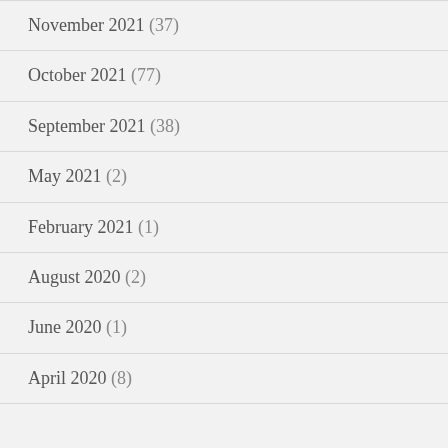November 2021 (37)
October 2021 (77)
September 2021 (38)
May 2021 (2)
February 2021 (1)
August 2020 (2)
June 2020 (1)
April 2020 (8)